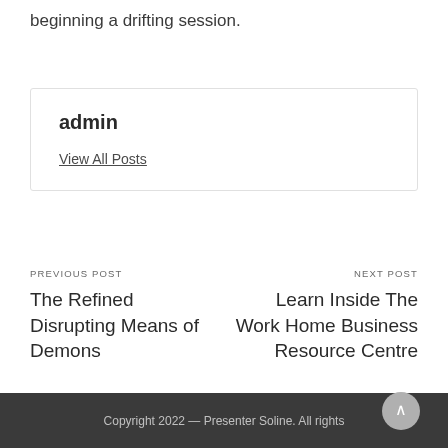beginning a drifting session.
admin
View All Posts
PREVIOUS POST
The Refined Disrupting Means of Demons
NEXT POST
Learn Inside The Work Home Business Resource Centre
Copyright 2022 — Presenter Soline. All rights